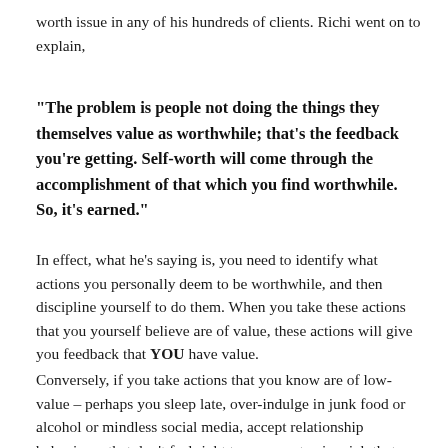worth issue in any of his hundreds of clients. Richi went on to explain,
“The problem is people not doing the things they themselves value as worthwhile; that’s the feedback you’re getting. Self-worth will come through the accomplishment of that which you find worthwhile. So, it’s earned.”
In effect, what he’s saying is, you need to identify what actions you personally deem to be worthwhile, and then discipline yourself to do them. When you take these actions that you yourself believe are of value, these actions will give you feedback that YOU have value.
Conversely, if you take actions that you know are of low-value – perhaps you sleep late, over-indulge in junk food or alcohol or mindless social media, accept relationship behaviours that don’t feel right to you, or stay in a job that you know you’re